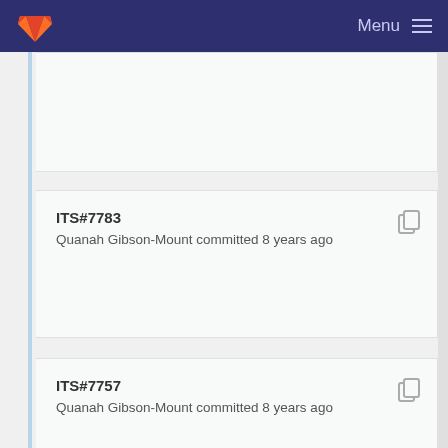Menu
ITS#7783
Quanah Gibson-Mount committed 8 years ago
ITS#7757
Quanah Gibson-Mount committed 8 years ago